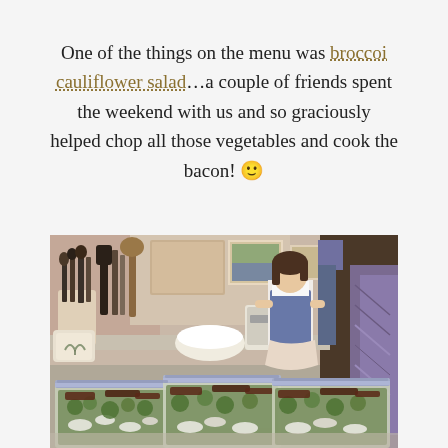One of the things on the menu was broccoi cauliflower salad…a couple of friends spent the weekend with us and so graciously helped chop all those vegetables and cook the bacon! 🙂
[Figure (photo): A kitchen scene showing plastic zip-lock bags filled with broccoli cauliflower salad ingredients (visible green broccoli, white cauliflower, and other toppings) in the foreground, with a child helping cook in the background among kitchen utensils and appliances.]